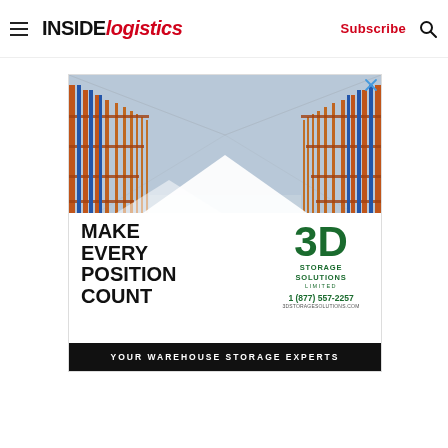INSIDE logistics — Subscribe
[Figure (illustration): Advertisement for 3D Storage Solutions Limited. Background shows warehouse racking/shelving in orange and blue. White diamond shapes overlay the bottom portion. Left side: 'MAKE EVERY POSITION COUNT' in large bold black text. Right side: '3D' in large green letters, 'STORAGE SOLUTIONS LIMITED', '1 (877) 557-2257', '3DSTORAGESOLUTIONS.COM'. Bottom banner: 'YOUR WAREHOUSE STORAGE EXPERTS' in white on black.]